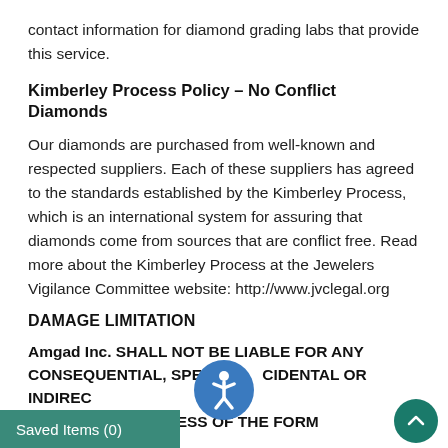contact information for diamond grading labs that provide this service.
Kimberley Process Policy – No Conflict Diamonds
Our diamonds are purchased from well-known and respected suppliers. Each of these suppliers has agreed to the standards established by the Kimberley Process, which is an international system for assuring that diamonds come from sources that are conflict free. Read more about the Kimberley Process at the Jewelers Vigilance Committee website: http://www.jvclegal.org
DAMAGE LIMITATION
Amgad Inc. SHALL NOT BE LIABLE FOR ANY CONSEQUENTIAL, SPECIAL, INCIDENTAL OR INDIRECT ANY KIND, REGARDLESS OF THE FORM
Saved Items (0)